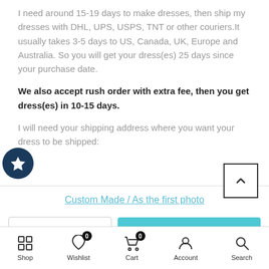I need around 15-19 days to make dresses, then ship my dresses with DHL, UPS, USPS, TNT or other couriers.It usually takes 3-5 days to US, Canada, UK, Europe and Australia. So you will get your dress(es) 25 days since your purchase date.
We also accept rush order with extra fee, then you get dress(es) in 10-15 days.
I will need your shipping address where you want your dress to be shipped:
Custom Made / As the first photo
ADD TO CART
Shop  Wishlist  Cart  Account  Search